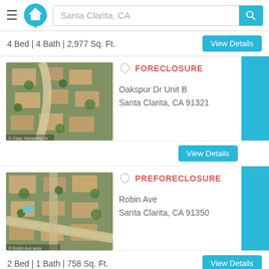Santa Clarita, CA
4 Bed | 4 Bath | 2,977 Sq. Ft.
[Figure (photo): Aerial satellite view of residential neighborhood with curved road - Oakspur Dr listing]
FORECLOSURE
Oakspur Dr Unit B
Santa Clarita, CA 91321
[Figure (photo): Aerial satellite view of residential neighborhood - Robin Ave listing]
PREFORECLOSURE
Robin Ave
Santa Clarita, CA 91350
2 Bed | 1 Bath | 758 Sq. Ft.